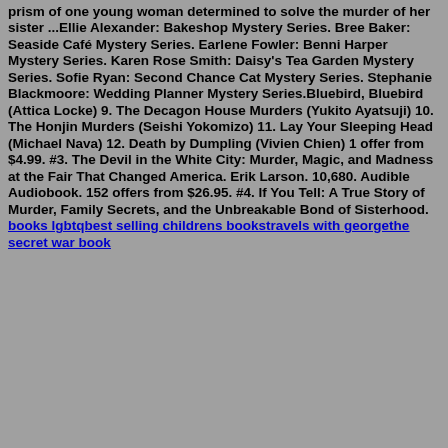prism of one young woman determined to solve the murder of her sister ...Ellie Alexander: Bakeshop Mystery Series. Bree Baker: Seaside Café Mystery Series. Earlene Fowler: Benni Harper Mystery Series. Karen Rose Smith: Daisy's Tea Garden Mystery Series. Sofie Ryan: Second Chance Cat Mystery Series. Stephanie Blackmoore: Wedding Planner Mystery Series.Bluebird, Bluebird (Attica Locke) 9. The Decagon House Murders (Yukito Ayatsuji) 10. The Honjin Murders (Seishi Yokomizo) 11. Lay Your Sleeping Head (Michael Nava) 12. Death by Dumpling (Vivien Chien) 1 offer from $4.99. #3. The Devil in the White City: Murder, Magic, and Madness at the Fair That Changed America. Erik Larson. 10,680. Audible Audiobook. 152 offers from $26.95. #4. If You Tell: A True Story of Murder, Family Secrets, and the Unbreakable Bond of Sisterhood.
books lgbtqbest selling childrens bookstravels with georgethe secret war book